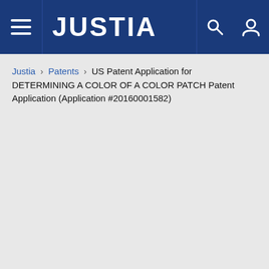JUSTIA
Justia › Patents › US Patent Application for DETERMINING A COLOR OF A COLOR PATCH Patent Application (Application #20160001582)